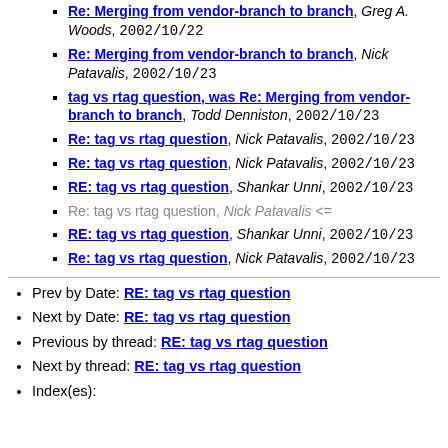Re: Merging from vendor-branch to branch, Greg A. Woods, 2002/10/22
Re: Merging from vendor-branch to branch, Nick Patavalis, 2002/10/23
tag vs rtag question, was Re: Merging from vendor-branch to branch, Todd Denniston, 2002/10/23
Re: tag vs rtag question, Nick Patavalis, 2002/10/23
Re: tag vs rtag question, Nick Patavalis, 2002/10/23
RE: tag vs rtag question, Shankar Unni, 2002/10/23
Re: tag vs rtag question, Nick Patavalis <=
RE: tag vs rtag question, Shankar Unni, 2002/10/23
Re: tag vs rtag question, Nick Patavalis, 2002/10/23
Prev by Date: RE: tag vs rtag question
Next by Date: RE: tag vs rtag question
Previous by thread: RE: tag vs rtag question
Next by thread: RE: tag vs rtag question
Index(es):